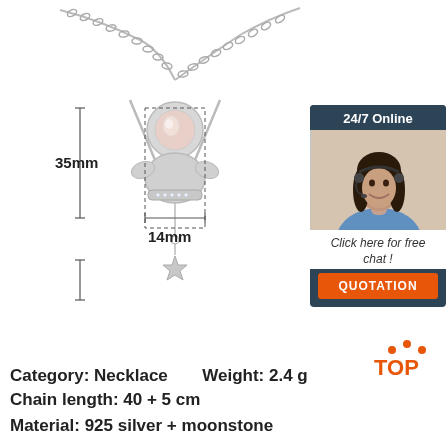[Figure (photo): Astronaut pendant necklace with pearl moonstone head, silver chain, star charm, with dimension annotations showing 35mm height and 14mm width, dotted measurement lines]
[Figure (infographic): Customer service chat widget showing '24/7 Online' header, woman with headset photo, 'Click here for free chat!' text, and orange QUOTATION button]
[Figure (logo): TOP logo with orange dots forming a triangle/arch above the letters TOP in orange]
Category: Necklace    Weight: 2.4 g
Chain length: 40 + 5 cm
Material: 925 silver + moonstone